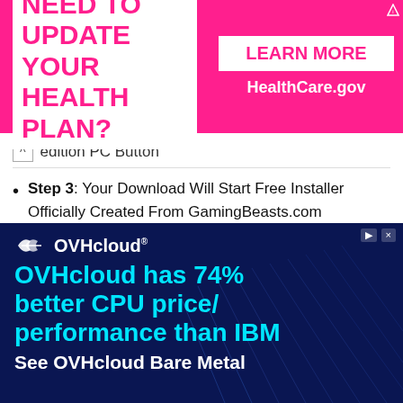[Figure (screenshot): Pink advertisement banner: 'NEED TO UPDATE YOUR HEALTH PLAN?' with 'LEARN MORE HealthCare.gov' button on the right]
edition PC Button
Step 3: Your Download Will Start Free Installer Officially Created From GamingBeasts.com
Step 4: Download & Install The File & Then You Will Be Able To Install The Game
[Figure (screenshot): OVHcloud advertisement on dark navy background. Logo at top, then cyan text 'OVHcloud has 74% better CPU price/performance than IBM', below 'See OVHcloud Bare Metal']